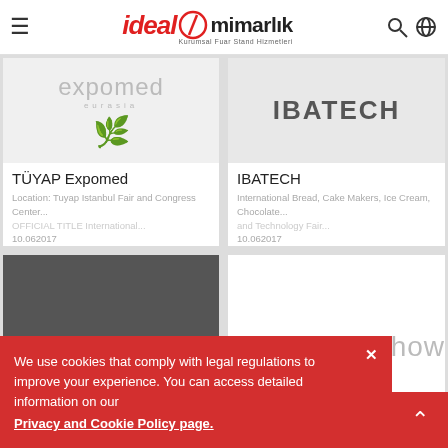[Figure (logo): Ideal Mimarlık logo with red italic 'ideal', circular icon, and 'mimarlık' text. Subtitle: Kurumsal Fuar Stand Hizmetleri]
[Figure (photo): Expomed Eurasia logo on light grey background]
TÜYAP Expomed
Location: Tuyap Istanbul Fair and Congress Center... OFFICIAL TITLE International... 10.062017
[Figure (photo): IBATECH logo on grey background]
IBATECH
International Bread, Cake Makers, Ice Cream, Chocolate... and Technology Fair... 10.062017
[Figure (photo): Dark grey card image placeholder]
[Figure (photo): White card with partial 'ashow' text visible]
We use cookies that comply with legal regulations to improve your experience. You can access detailed information on our
Privacy and Cookie Policy page.